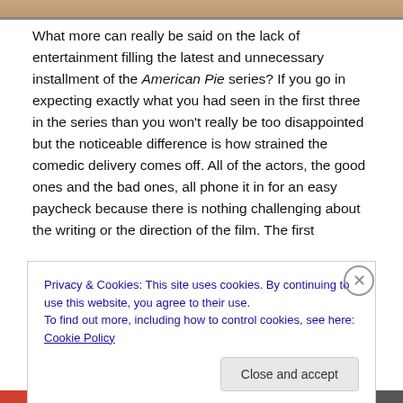[Figure (photo): Partial photo strip at top of page, showing a warm-toned image (possibly food or scene related to American Pie)]
What more can really be said on the lack of entertainment filling the latest and unnecessary installment of the American Pie series? If you go in expecting exactly what you had seen in the first three in the series than you won't really be too disappointed but the noticeable difference is how strained the comedic delivery comes off. All of the actors, the good ones and the bad ones, all phone it in for an easy paycheck because there is nothing challenging about the writing or the direction of the film. The first
Privacy & Cookies: This site uses cookies. By continuing to use this website, you agree to their use.
To find out more, including how to control cookies, see here: Cookie Policy